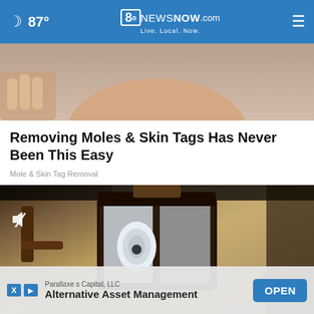87° | 8oNEWSNOW.com Live. Local. Now.
[Figure (photo): Cropped photo of a woman's lower face and hand, close-up, dark hair visible]
Removing Moles & Skin Tags Has Never Been This Easy
Mole & Skin Tag Removal
[Figure (photo): Video thumbnail showing an outdoor lantern light fixture with a security camera inside, mute icon in top-left corner, close button bottom-right]
Parallaxe s Capital, LLC
Alternative Asset Management
OPEN